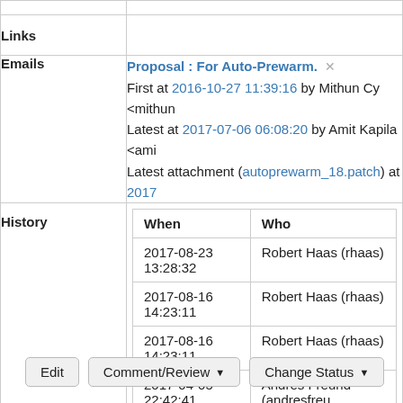| Links |  |
| Emails | Proposal : For Auto-Prewarm. ×
First at 2016-10-27 11:39:16 by Mithun Cy <mithun...
Latest at 2017-07-06 06:08:20 by Amit Kapila <ami...
Latest attachment (autoprewarm_18.patch) at 2017... |
| History | When | Who
2017-08-23 13:28:32 | Robert Haas (rhaas)
2017-08-16 14:23:11 | Robert Haas (rhaas)
2017-08-16 14:23:11 | Robert Haas (rhaas)
2017-04-05 22:42:41 | Andres Freund (andresfreu...
2017-04-05 22:42:35 | Andres Freund (andresfreu...
2017-03-09 10:01:02 | Peter Eisentraut (peter...) |
Edit  Comment/Review ▾  Change Status ▾